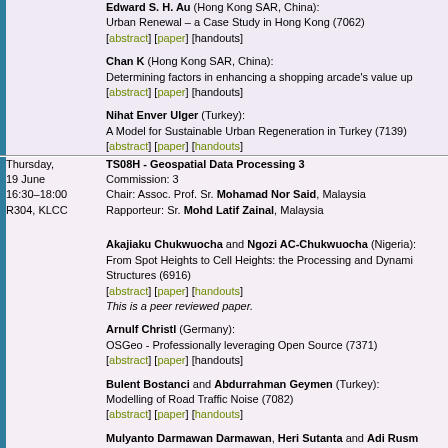|  | Date/Time/Room | Content |
| --- | --- | --- |
|  |  | Edward S. H. Au (Hong Kong SAR, China): Urban Renewal – a Case Study in Hong Kong (7062) [abstract] [paper] [handouts] |
|  |  | Chan K (Hong Kong SAR, China): Determining factors in enhancing a shopping arcade's value up... [abstract] [paper] [handouts] |
|  |  | Nihat Enver Ulger (Turkey): A Model for Sustainable Urban Regeneration in Turkey (7139) [abstract] [paper] [handouts] |
|  | Thursday, 19 June 16:30–18:00 R304, KLCC | TS08H - Geospatial Data Processing 3 Commission: 3 Chair: Assoc. Prof. Sr. Mohamad Nor Said, Malaysia Rapporteur: Sr. Mohd Latif Zainal, Malaysia |
|  |  | Akajiaku Chukwuocha and Ngozi AC-Chukwuocha (Nigeria): From Spot Heights to Cell Heights: the Processing and Dynamics... Structures (6916) [abstract] [paper] [handouts] This is a peer reviewed paper. |
|  |  | Arnulf Christl (Germany): OSGeo - Professionally leveraging Open Source (7371) [abstract] [paper] [handouts] |
|  |  | Bulent Bostanci and Abdurrahman Geymen (Turkey): Modelling of Road Traffic Noise (7082) [abstract] [paper] [handouts] |
|  |  | Mulyanto Darmawan Darmawan, Heri Sutanta and Adi Rusm... Developing Local Government Capacity for SDI Development i... [abstract] [paper] [handouts] |